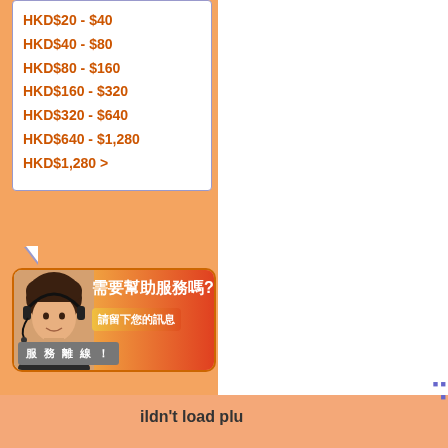HKD$20 - $40
HKD$40 - $80
HKD$80 - $160
HKD$160 - $320
HKD$320 - $640
HKD$640 - $1,280
HKD$1,280 >
[Figure (screenshot): Customer service chat widget with Chinese text '需要幫助服務嗎?' (Need help?) and '請留下您的訊息' (Please leave your message) with '服務離線！' (Service Offline!) banner, showing a woman wearing a headset]
ildn't load plu